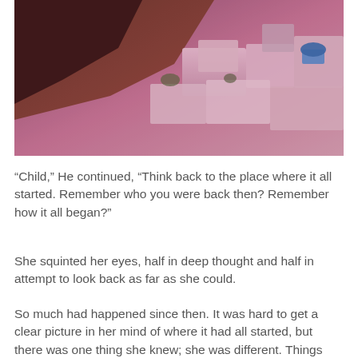[Figure (photo): Aerial view of a Mediterranean cliff-side town (likely Santorini, Greece) at dusk/sunset, showing white-washed buildings, a blue dome, and rocky hillside with warm purple/pink lighting.]
“Child,” He continued, “Think back to the place where it all started. Remember who you were back then? Remember how it all began?”
She squinted her eyes, half in deep thought and half in attempt to look back as far as she could.
So much had happened since then. It was hard to get a clear picture in her mind of where it had all started, but there was one thing she knew; she was different. Things were different. Understanding began to enlighten her face and spark in her eyes.